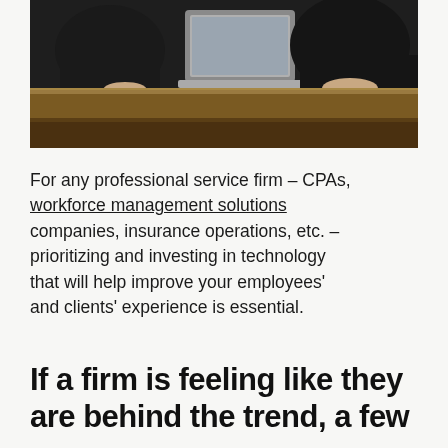[Figure (photo): Two people in dark suits at a conference table with a laptop; view from above the table surface showing the wooden table edge]
For any professional service firm – CPAs, workforce management solutions companies, insurance operations, etc. – prioritizing and investing in technology that will help improve your employees’ and clients’ experience is essential.
If a firm is feeling like they are behind the trend, a few